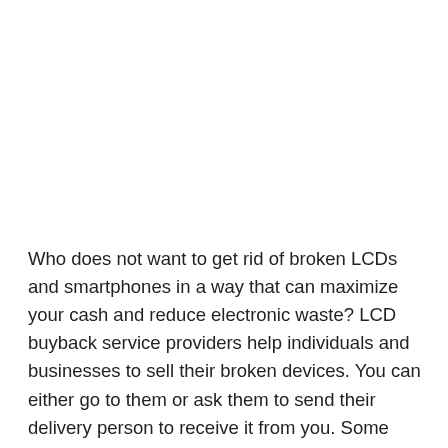Who does not want to get rid of broken LCDs and smartphones in a way that can maximize your cash and reduce electronic waste? LCD buyback service providers help individuals and businesses to sell their broken devices. You can either go to them or ask them to send their delivery person to receive it from you. Some service providers have this facility, and some do not. This isn't only limited to people but for repair businesses as well. It doesn't matter how big or small your business is, you can always take